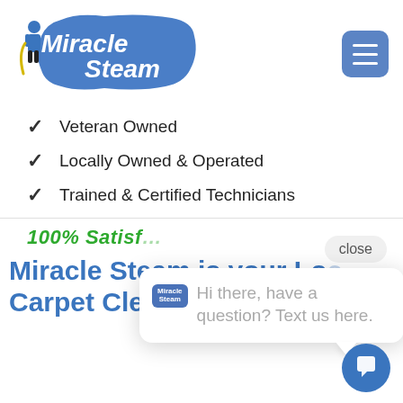[Figure (logo): Miracle Steam logo with blue paint splash background, white bold text 'Miracle Steam', and a technician figure with equipment on the left]
[Figure (other): Blue rounded square hamburger menu button with three white horizontal lines]
✓  Veteran Owned
✓  Locally Owned & Operated
✓  Trained & Certified Technicians
close
[Figure (screenshot): Chat popup with Miracle Steam logo icon and text: 'Hi there, have a question? Text us here.']
100% Satisf…
Miracle Steam is your Loc… Carpet Cleaning, Rug
[Figure (other): Blue circle chat button with speech bubble icon]